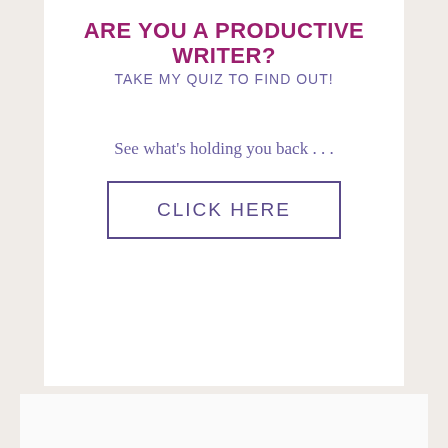ARE YOU A PRODUCTIVE WRITER?
TAKE MY QUIZ TO FIND OUT!
See what's holding you back . . .
CLICK HERE
Search this website